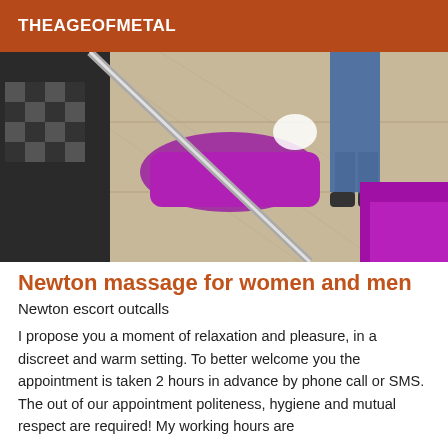THEAGEOFMETAL
[Figure (photo): Interior photo of what appears to be a salon or spa with purple/magenta chairs and a checkered pattern couch, tile floor, and a person standing in the background wearing jeans]
Newton massage for women and men
Newton escort outcalls
I propose you a moment of relaxation and pleasure, in a discreet and warm setting. To better welcome you the appointment is taken 2 hours in advance by phone call or SMS. The out of our appointment politeness, hygiene and mutual respect are required! My working hours are